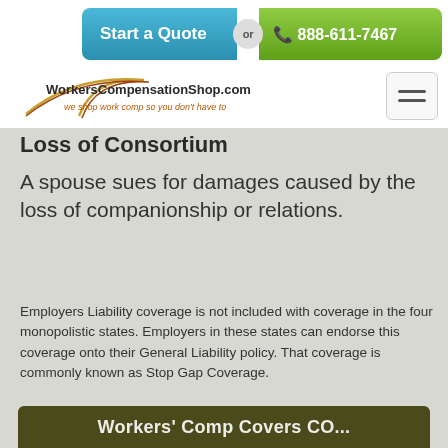[Figure (screenshot): Call-to-action bar with 'Start a Quote' button in teal/blue and phone number '888-611-7467' in green, separated by an 'or' circle badge]
[Figure (logo): WorkersCompensationShop.com logo with arc graphic and tagline 'we shop work comp so you don't have to']
Loss of Consortium
A spouse sues for damages caused by the loss of companionship or relations.
Employers Liability coverage is not included with coverage in the four monopolistic states. Employers in these states can endorse this coverage onto their General Liability policy. That coverage is commonly known as Stop Gap Coverage.
[Figure (screenshot): Bottom partial banner with dark olive/brown background showing 'Workers' Comp Covers CO...' text in white]